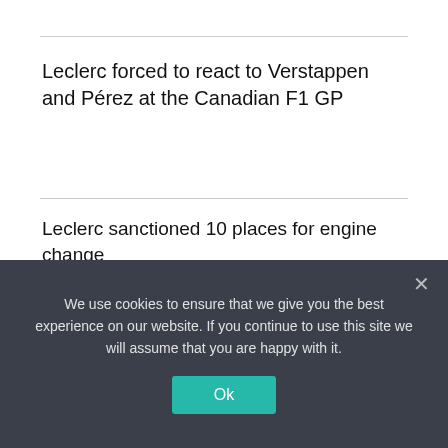Leclerc forced to react to Verstappen and Pérez at the Canadian F1 GP
Leclerc sanctioned 10 places for engine change
All Star
Athletics
Baseball
Basketball
Boxing
Football
We use cookies to ensure that we give you the best experience on our website. If you continue to use this site we will assume that you are happy with it.